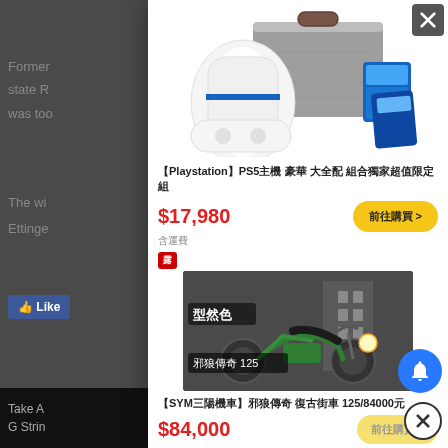Former state R was too
ver ace
[Figure (screenshot): Product modal popup showing PS5 console with carrying case and accessories]
【Playstation】PS5主機 豪華 大全配 組合獨家超值限定組
$17,980
前往購買 >
含運費
[Figure (photo): Motorcycle - SYM retro 125cc classic style in dark color]
型然色
邪狼傳奇 125
【SYM三陽機車】邪狼傳奇 復古街車 125/84000元
$84,000
前往購買 >
The wi Ettinge
ff
Like
oola Feed
Take A G Strin
y fo d 2...
170